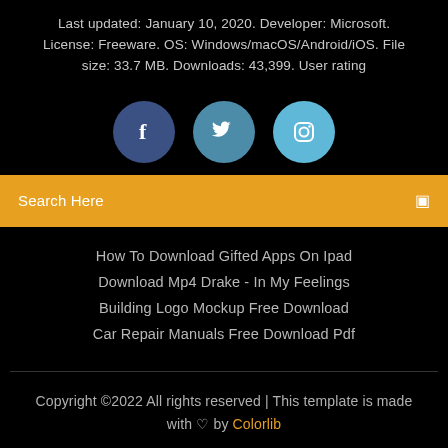Last updated: January 10, 2020. Developer: Microsoft. License: Freeware. OS: Windows/macOS/Android/iOS. File size: 33.7 MB. Downloads: 43,399. User rating
[Figure (infographic): Three social media circular icon buttons: Facebook (dark blue), Twitter (medium blue), Instagram (light blue)]
Search Here
How To Download Gifted Apps On Ipad
Download Mp4 Drake - In My Feelings
Building Logo Mockup Free Download
Car Repair Manuals Free Download Pdf
Copyright ©2022 All rights reserved | This template is made with ♡ by Colorlib